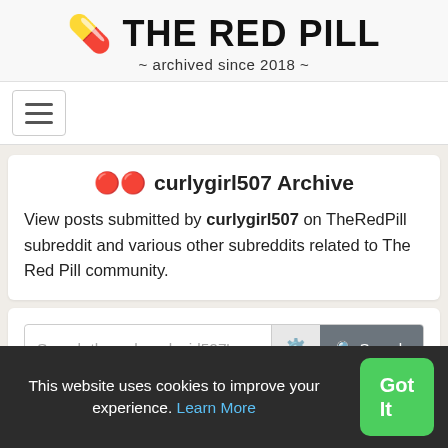💊 THE RED PILL ~ archived since 2018 ~
[Figure (screenshot): Navigation hamburger menu icon]
🔴🔴 curlygirl507 Archive
View posts submitted by curlygirl507 on TheRedPill subreddit and various other subreddits related to The Red Pill community.
Search through curlygirl507's posts [Search]
This website uses cookies to improve your experience. Learn More
Got It